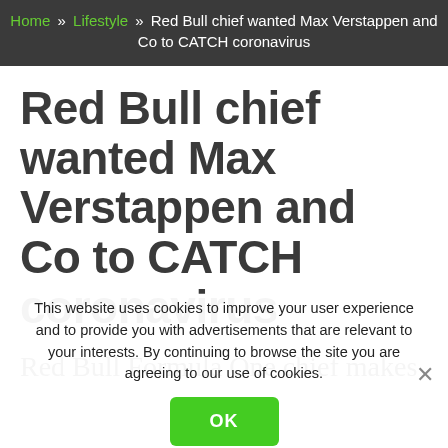Home » Lifestyle » Red Bull chief wanted Max Verstappen and Co to CATCH coronavirus
Red Bull chief wanted Max Verstappen and Co to CATCH coronavirus
Red Bull Formula One chief makes
This website uses cookies to improve your user experience and to provide you with advertisements that are relevant to your interests. By continuing to browse the site you are agreeing to our use of cookies.